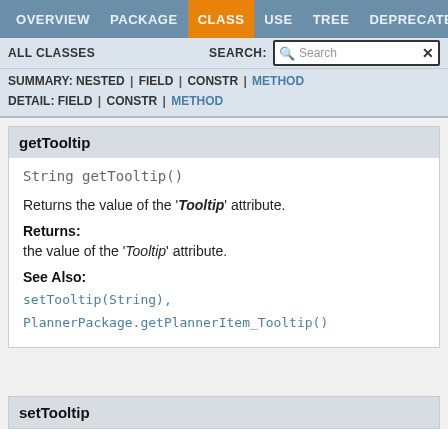OVERVIEW  PACKAGE  CLASS  USE  TREE  DEPRECATED
ALL CLASSES   SEARCH:
SUMMARY: NESTED | FIELD | CONSTR | METHOD  DETAIL: FIELD | CONSTR | METHOD
getTooltip
String getTooltip()
Returns the value of the 'Tooltip' attribute.
Returns:
the value of the 'Tooltip' attribute.
See Also:
setTooltip(String),
PlannerPackage.getPlannerItem_Tooltip()
setTooltip